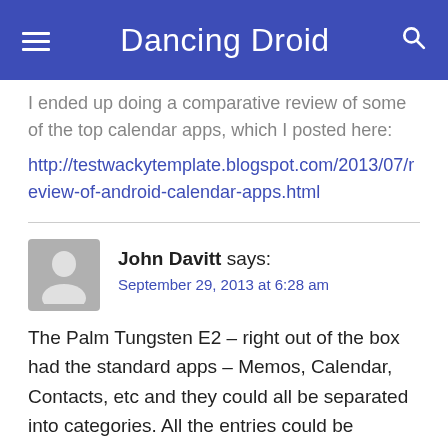Dancing Droid
I ended up doing a comparative review of some of the top calendar apps, which I posted here:
http://testwackytemplate.blogspot.com/2013/07/review-of-android-calendar-apps.html
John Davitt says: September 29, 2013 at 6:28 am
The Palm Tungsten E2 – right out of the box had the standard apps – Memos, Calendar, Contacts, etc and they could all be separated into categories. All the entries could be selectively marked as private or left public and there was a password to allow seeing the private items. I've searched for a replacement for this functionality but not been able to find it for my Kindle Fire HD. Does anybody